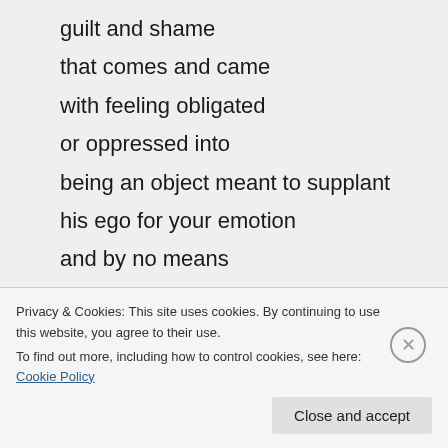guilt and shame
that comes and came
with feeling obligated
or oppressed into
being an object meant to supplant
his ego for your emotion
and by no means
is your suggestive gesture
any measure of support
that he should suggest his pleasure
Privacy & Cookies: This site uses cookies. By continuing to use this website, you agree to their use.
To find out more, including how to control cookies, see here: Cookie Policy